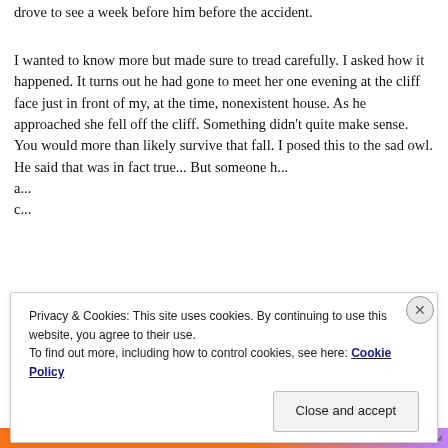drove to see a week before him before the accident.
I wanted to know more but made sure to tread carefully. I asked how it happened. It turns out he had gone to meet her one evening at the cliff face just in front of my, at the time, nonexistent house. As he approached she fell off the cliff. Something didn't quite make sense. You would more than likely survive that fall. I posed this to the sad owl. He said that was in fact true... But someone h... a... c...
Privacy & Cookies: This site uses cookies. By continuing to use this website, you agree to their use.
To find out more, including how to control cookies, see here: Cookie Policy
Close and accept